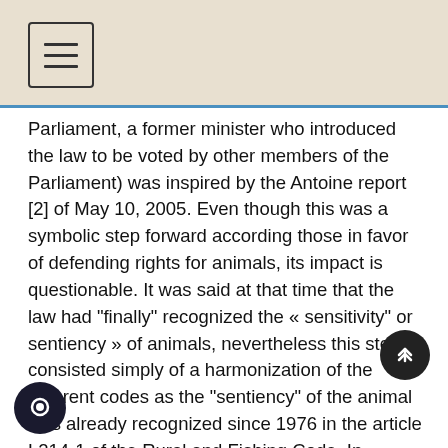Parliament, a former minister who introduced the law to be voted by other members of the Parliament) was inspired by the Antoine report [2] of May 10, 2005. Even though this was a symbolic step forward according those in favor of defending rights for animals, its impact is questionable. It was said at that time that the law had “finally” recognized the « sensitivity” or sentiency » of animals, nevertheless this step consisted simply of a harmonization of the different codes as the “sentiency” of the animal was already recognized since 1976 in the article L214-1 of the Rural and Fishing Code. In addition to this, there has been no change in the legal regime of animals, as animals were still subject to the “property regulation”. It must notice that the French word « sensibilité », which is used in these french laws, means at once « sensibility », « sensitivity », « sensoriality », or « sentiency », according to context.